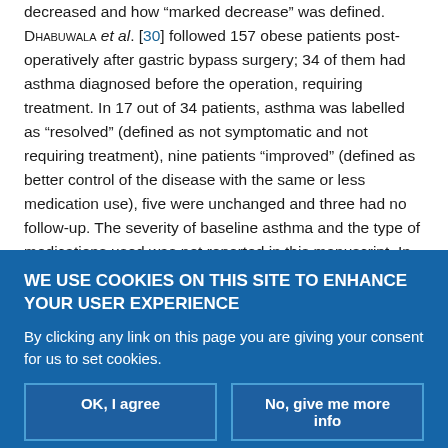decreased and how “marked decrease” was defined. Dhabuwala et al. [30] followed 157 obese patients post-operatively after gastric bypass surgery; 34 of them had asthma diagnosed before the operation, requiring treatment. In 17 out of 34 patients, asthma was labelled as “resolved” (defined as not symptomatic and not requiring treatment), nine patients “improved” (defined as better control of the disease with the same or less medication use), five were unchanged and three had no follow-up. The severity of baseline asthma and the type of medications used was not reported in this manuscript. In the cohort described by O’Brien et al. [25] discussed earlier in this review, all 33 patients required less medication after the operation,
WE USE COOKIES ON THIS SITE TO ENHANCE YOUR USER EXPERIENCE
By clicking any link on this page you are giving your consent for us to set cookies.